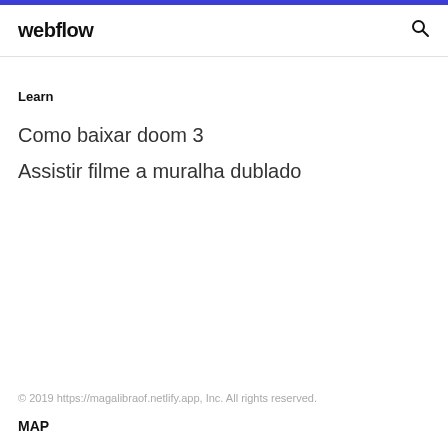webflow
Learn
Como baixar doom 3
Assistir filme a muralha dublado
© 2019 https://magalibraof.netlify.app, Inc. All rights reserved.
MAP